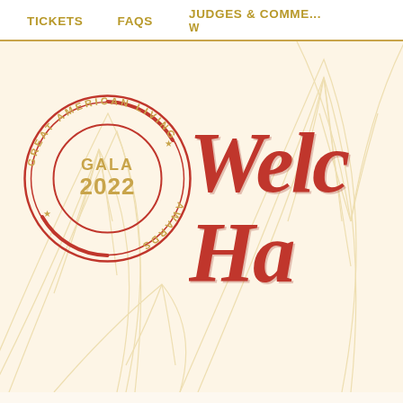TICKETS   FAQS   JUDGES & COMMITTEE   W...
[Figure (logo): Great American Living Awards GALA 2022 circular stamp/seal in red and gold, with concentric circles and star decorations]
Welco Ha...